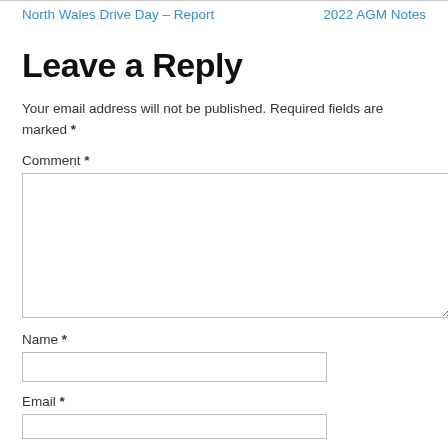North Wales Drive Day – Report | 2022 AGM Notes
Leave a Reply
Your email address will not be published. Required fields are marked *
Comment *
Name *
Email *